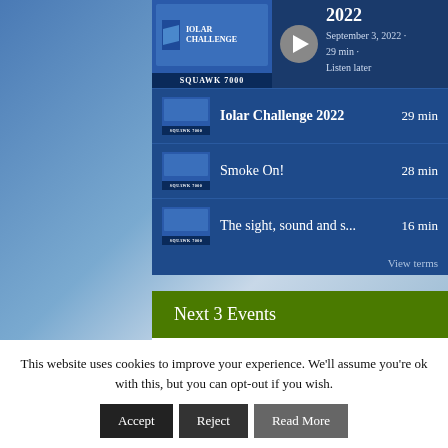[Figure (screenshot): Podcast player card showing 'Squawk 7000' podcast with episode 'Iolar Challenge 2022'. Player shows September 3, 2022, 29 min, Listen later. Episode list shows: Iolar Challenge 2022 (29 min), Smoke On! (28 min), The sight, sound and s... (16 min). Below is a green 'Next 3 Events' button and 'Click here to view all events' link. At bottom is a cookie consent banner with Accept, Reject, Read More buttons.]
2022
September 3, 2022 · 29 min · Listen later
SQUAWK 7000
Iolar Challenge 2022    29 min
Smoke On!    28 min
The sight, sound and s...    16 min
View terms
Next 3 Events
Click here to view all events
This website uses cookies to improve your experience. We'll assume you're ok with this, but you can opt-out if you wish.
Accept
Reject
Read More